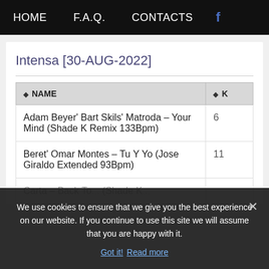HOME   F.A.Q.   CONTACTS   f
Intensa [30-AUG-2022]
| NAME | K |
| --- | --- |
| Adam Beyer' Bart Skils' Matroda – Your Mind (Shade K Remix 133Bpm) | 6 |
| Beret' Omar Montes – Tu Y Yo (Jose Giraldo Extended 93Bpm) | 11 |
| Carta – Back To... (Shade K... Bpm) |  |
We use cookies to ensure that we give you the best experience on our website. If you continue to use this site we will assume that you are happy with it.
Got it!  Read more